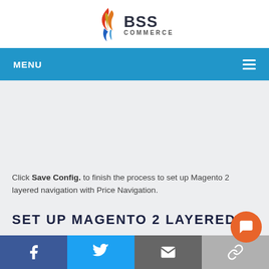[Figure (logo): BSS Commerce logo with flame/swirl SVG icon and BSS COMMERCE text]
MENU
Click Save Config. to finish the process to set up Magento 2 layered navigation with Price Navigation.
SET UP MAGENTO 2 LAYERED